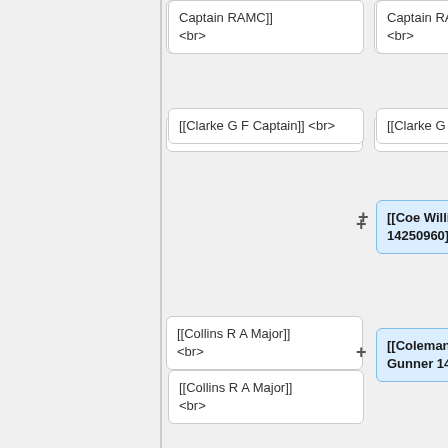[[...Captain RAMC]] <br>
[[...Captain RAMC]] <br>
[[Clarke G F Captain]] <br>
[[Clarke G F Captain]] <br>
[[Coe William Gunner 14250960]] <br>
[[Coleman Edward Joseph Gunner 14264722]] <br>
[[Coller Henry Edward Gunner 14262565]] <br>
[[Collins R A Major]] <br>
[[Collins R A Major]] <br>
[[Comber Dennis Charles Gunner 14710014]] <br>
[[Cooke Lawrence David Gunner...